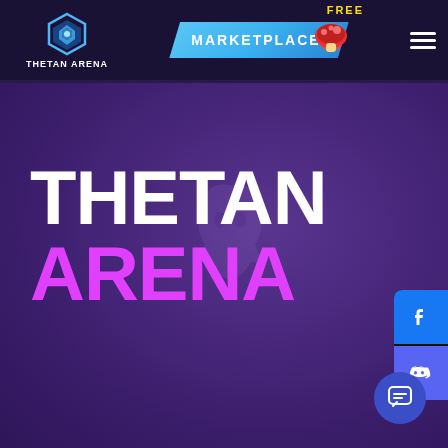[Figure (logo): Thetan Arena logo with hexagon icon and text 'THETAN ARENA' in navigation bar]
[Figure (screenshot): Marketplace button with blue trapezoid shape and decorative character, FREE label in yellow, hamburger menu icon]
THETAN ARENA
[Figure (illustration): Ghost/character watermark in purple behind the title text]
[Figure (infographic): Social media sidebar with Facebook and Discord icons, and chat bubble button at bottom right]